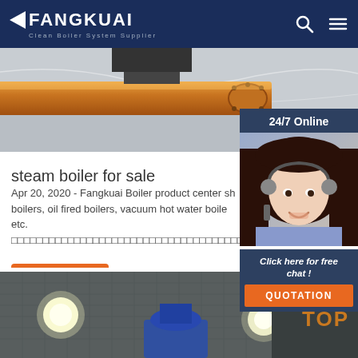FANGKUAI — Clean Boiler System Supplier
[Figure (photo): Industrial boiler pipes — orange/rust-colored large diameter pipe on a concrete surface]
steam boiler for sale
Apr 20, 2020 - Fangkuai Boiler product center sh boilers, oil fired boilers, vacuum hot water boile etc. □□□□□□□□□□□□□□□□□□□□□□□□□□□□□□□□□□□□□□□□□□
[Figure (photo): 24/7 Online chat widget showing a woman with headset and a QUOTATION button]
Get Price
[Figure (photo): Industrial welding or manufacturing facility with ceiling grid and bright work lights, TOP label overlay]